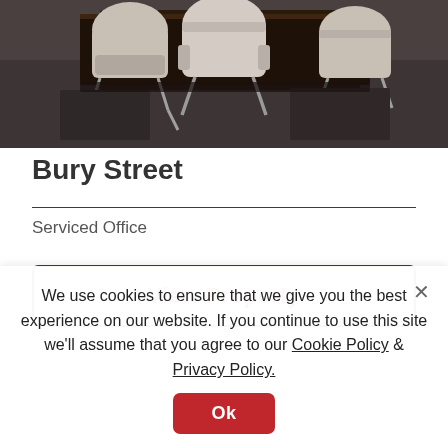[Figure (photo): Conference room photo showing white/cream leather chairs around a dark wood table on gray carpet]
Bury Street
Serviced Office
View Property
We use cookies to ensure that we give you the best experience on our website. If you continue to use this site we'll assume that you agree to our Cookie Policy & Privacy Policy.
Ok